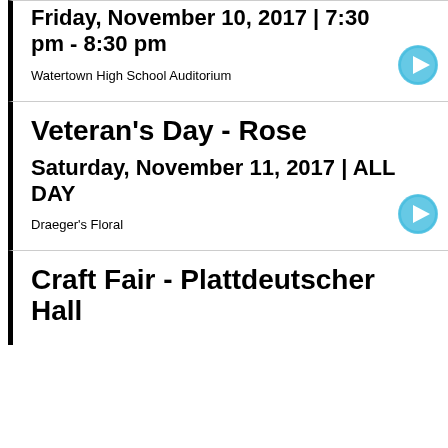Friday, November 10, 2017 | 7:30 pm - 8:30 pm
Watertown High School Auditorium
Veteran's Day - Rose
Saturday, November 11, 2017 | ALL DAY
Draeger's Floral
Craft Fair - Plattdeutscher Hall